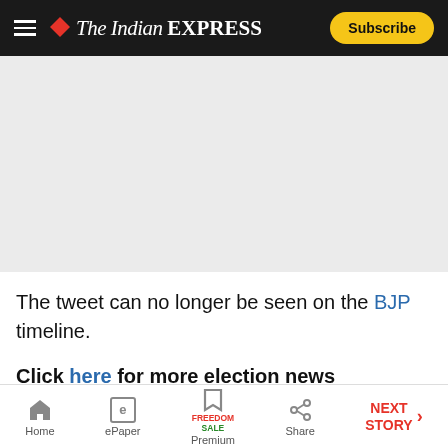The Indian EXPRESS — Subscribe
[Figure (other): Gray advertisement/image placeholder area]
The tweet can no longer be seen on the BJP timeline.
Click here for more election news
Home | ePaper | Premium (Freedom Sale) | Share | NEXT STORY →